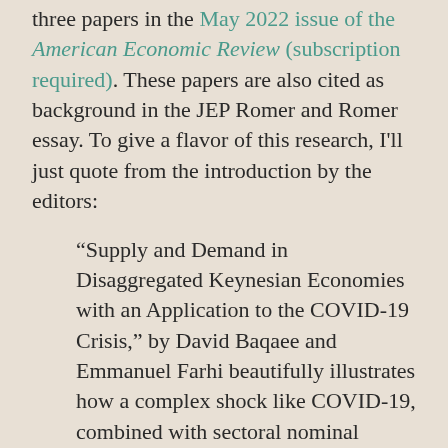three papers in the May 2022 issue of the American Economic Review (subscription required). These papers are also cited as background in the JEP Romer and Romer essay. To give a flavor of this research, I'll just quote from the introduction by the editors:
“Supply and Demand in Disaggregated Keynesian Economies with an Application to the COVID-19 Crisis,” by David Baqaee and Emmanuel Farhi beautifully illustrates how a complex shock like COVID-19, combined with sectoral nominal rigidities, can lead simultaneously to the coexistence of tight and slack labor markets in different sectors. They also highlight